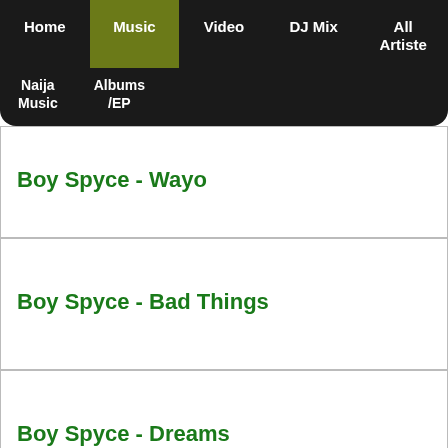Home | Music | Video | DJ Mix | All Artiste | Naija Music | Albums /EP
Boy Spyce - Wayo
Boy Spyce - Bad Things
Boy Spyce - Dreams
Boy Spyce - Nobody